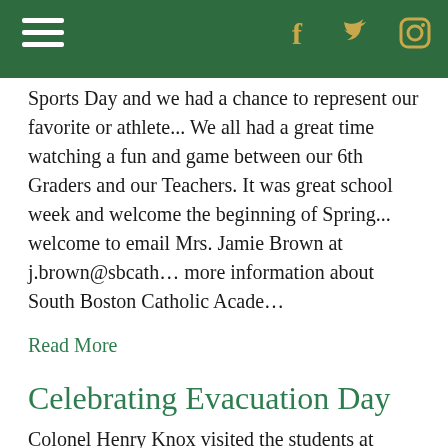[Navigation header with hamburger menu and social media icons: Facebook, Twitter, Instagram]
Sports Day and we had a chance to represent our favorite or athlete... We all had a great time watching a fun and game between our 6th Graders and our Teachers. It was great school week and welcome the beginning of Spring... welcome to email Mrs. Jamie Brown at j.brown@sbcatholic more information about South Boston Catholic Academy
Read More
Celebrating Evacuation Day
Colonel Henry Knox visited the students at South Boston Knox told the students, many of whom had written essays Boston Citizens Association Poster & Essay Contest, about from Fort Ticonderoga to Boston in the winter, and using